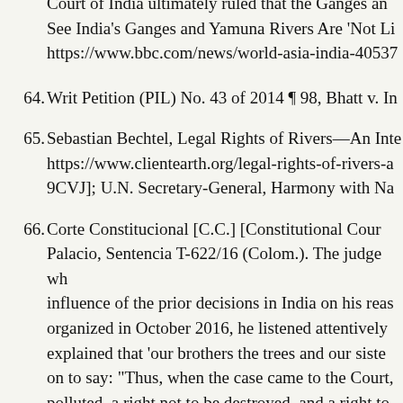Court of India ultimately ruled that the Ganges and Yamuna Rivers Are 'Not Li... See India's Ganges and Yamuna Rivers Are 'Not Li... https://www.bbc.com/news/world-asia-india-40537...
64. Writ Petition (PIL) No. 43 of 2014 ¶ 98, Bhatt v. In...
65. Sebastian Bechtel, Legal Rights of Rivers—An Inte... https://www.clientearth.org/legal-rights-of-rivers-a... 9CVJ]; U.N. Secretary-General, Harmony with Na...
66. Corte Constitucional [C.C.] [Constitutional Cour... Palacio, Sentencia T-622/16 (Colom.). The judge wh... influence of the prior decisions in India on his reas... organized in October 2016, he listened attentively... explained that 'our brothers the trees and our siste... on to say: "Thus, when the case came to the Court,... polluted, a right not to be destroyed, and a right to...